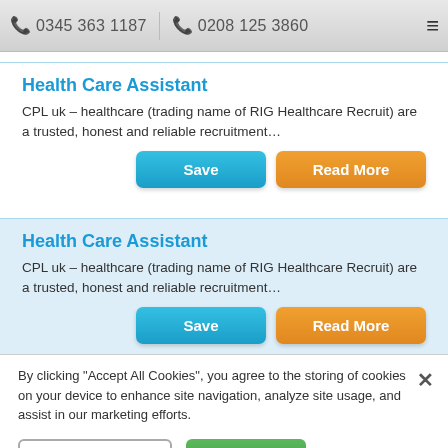0345 363 1187   0208 125 3860
Health Care Assistant
CPL uk – healthcare (trading name of RIG Healthcare Recruit) are a trusted, honest and reliable recruitment…
Health Care Assistant
CPL uk – healthcare (trading name of RIG Healthcare Recruit) are a trusted, honest and reliable recruitment…
By clicking "Accept All Cookies", you agree to the storing of cookies on your device to enhance site navigation, analyze site usage, and assist in our marketing efforts.